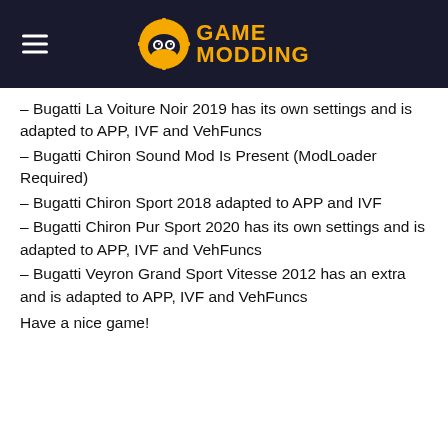Game Modding
– Bugatti La Voiture Noir 2019 has its own settings and is adapted to APP, IVF and VehFuncs
– Bugatti Chiron Sound Mod Is Present (ModLoader Required)
– Bugatti Chiron Sport 2018 adapted to APP and IVF
– Bugatti Chiron Pur Sport 2020 has its own settings and is adapted to APP, IVF and VehFuncs
– Bugatti Veyron Grand Sport Vitesse 2012 has an extra and is adapted to APP, IVF and VehFuncs
Have a nice game!